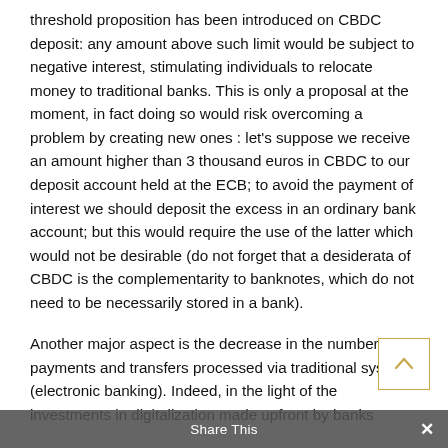threshold proposition has been introduced on CBDC deposit: any amount above such limit would be subject to negative interest, stimulating individuals to relocate money to traditional banks. This is only a proposal at the moment, in fact doing so would risk overcoming a problem by creating new ones : let's suppose we receive an amount higher than 3 thousand euros in CBDC to our deposit account held at the ECB; to avoid the payment of interest we should deposit the excess in an ordinary bank account; but this would require the use of the latter which would not be desirable (do not forget that a desiderata of CBDC is the complementarity to banknotes, which do not need to be necessarily stored in a bank).
Another major aspect is the decrease in the number of payments and transfers processed via traditional systems (electronic banking). Indeed, in the light of the investments in digitalization made upfront by banks
Share This ✕